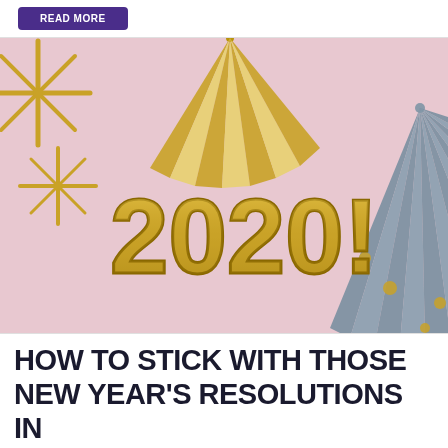[Figure (other): Purple button/label at top of page, partially visible, showing text on dark purple background]
[Figure (photo): New Year 2020 celebration photo with gold metallic '2020!' balloon letters on a pink background, with grey paper fan decorations with gold polka dots and gold star decorations]
HOW TO STICK WITH THOSE NEW YEAR'S RESOLUTIONS IN